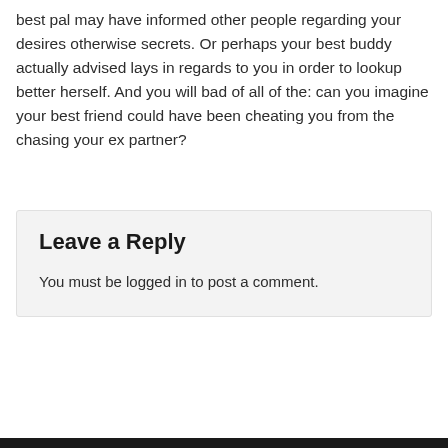best pal may have informed other people regarding your desires otherwise secrets. Or perhaps your best buddy actually advised lays in regards to you in order to lookup better herself. And you will bad of all of the: can you imagine your best friend could have been cheating you from the chasing your ex partner?
Leave a Reply
You must be logged in to post a comment.